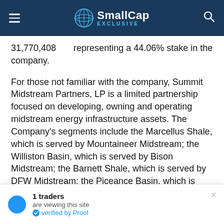SmallCap EXCLUSIVE
31,770,408      representing a 44.06% stake in the company.
For those not familiar with the company, Summit Midstream Partners, LP is a limited partnership focused on developing, owning and operating midstream energy infrastructure assets. The Company’s segments include the Marcellus Shale, which is served by Mountaineer Midstream; the Williston Basin, which is served by Bison Midstream; the Barnett Shale, which is served by DFW Midstream; the Piceance Basin, which is served by Grand River, and Corporate. It provides natural gas gathering
1 traders
are viewing this site
verified by Proof